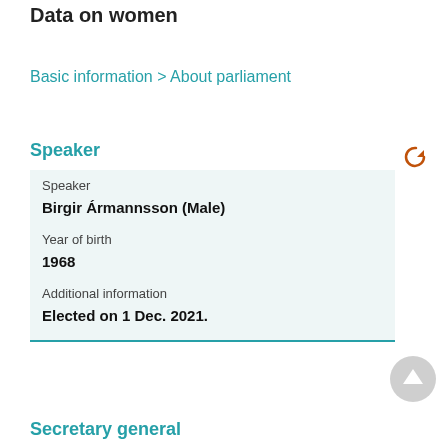Data on women
Basic information > About parliament
Speaker
| Speaker | Birgir Ármannsson (Male) |
| Year of birth | 1968 |
| Additional information | Elected on 1 Dec. 2021. |
Secretary general